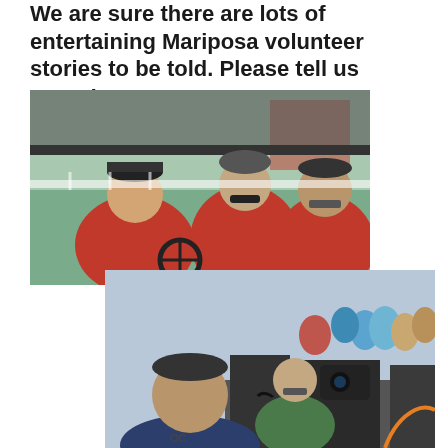We are sure there are lots of entertaining Mariposa volunteer stories to be told. Please tell us yours!
[Figure (photo): Three volunteers in red shirts sitting in a golf cart, smiling at the camera. Two men and a woman, all wearing baseball caps and sunglasses.]
[Figure (photo): People at an outdoor event working at a table with cameras, audio equipment, and electronics. A man in a dark cap and navy shirt is in the foreground, with a woman in a green jacket and others visible behind them.]